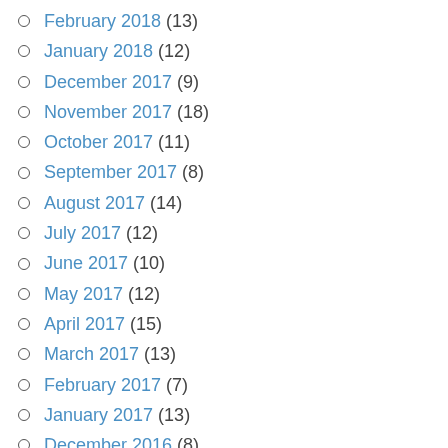February 2018 (13)
January 2018 (12)
December 2017 (9)
November 2017 (18)
October 2017 (11)
September 2017 (8)
August 2017 (14)
July 2017 (12)
June 2017 (10)
May 2017 (12)
April 2017 (15)
March 2017 (13)
February 2017 (7)
January 2017 (13)
December 2016 (8)
November 2016 (7)
October 2016 (18)
September 2016 (14)